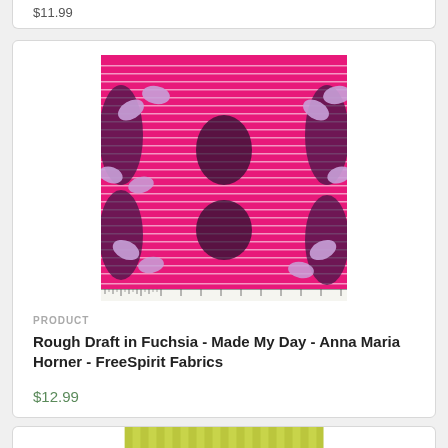$11.99
[Figure (photo): Fuchsia pink fabric with horizontal white stripes and floral/botanical pattern in purple, lavender, and dark tones. A ruler is visible along the bottom edge.]
PRODUCT
Rough Draft in Fuchsia - Made My Day - Anna Maria Horner - FreeSpirit Fabrics
$12.99
[Figure (photo): Partial view of a yellow-green striped fabric at the bottom of the page.]